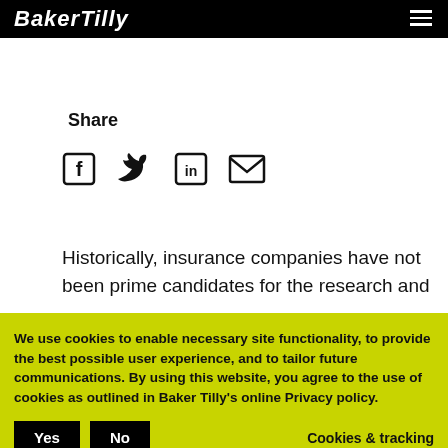Baker Tilly
Share
[Figure (infographic): Social share icons: Facebook, Twitter, LinkedIn, Email]
Historically, insurance companies have not been prime candidates for the research and
We use cookies to enable necessary site functionality, to provide the best possible user experience, and to tailor future communications. By using this website, you agree to the use of cookies as outlined in Baker Tilly's online Privacy policy.
Yes  No  Cookies & tracking